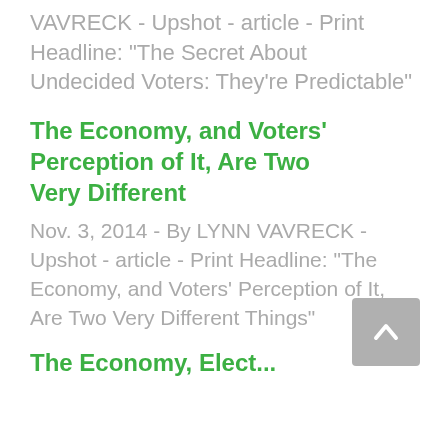VAVRECK - Upshot - article - Print Headline: "The Secret About Undecided Voters: They're Predictable"
The Economy, and Voters' Perception of It, Are Two Very Different
Nov. 3, 2014 - By LYNN VAVRECK - Upshot - article - Print Headline: "The Economy, and Voters' Perception of It, Are Two Very Different Things"
The Economy, Elect...